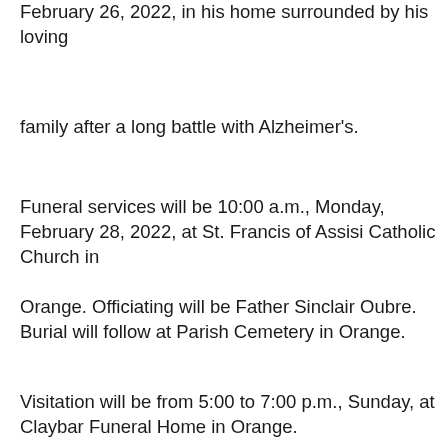February 26, 2022, in his home surrounded by his loving
family after a long battle with Alzheimer's.
Funeral services will be 10:00 a.m., Monday, February 28, 2022, at St. Francis of Assisi Catholic Church in
Orange. Officiating will be Father Sinclair Oubre. Burial will follow at Parish Cemetery in Orange.
Visitation will be from 5:00 to 7:00 p.m., Sunday, at Claybar Funeral Home in Orange.
Born in Orange, Texas, on November 20, 1935, he was the son of L.J. and Lena Vincent. Travis was an amazing